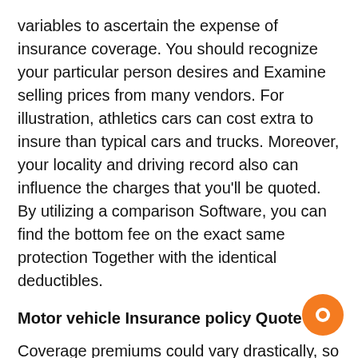variables to ascertain the expense of insurance coverage. You should recognize your particular person desires and Examine selling prices from many vendors. For illustration, athletics cars can cost extra to insure than typical cars and trucks. Moreover, your locality and driving record also can influence the charges that you'll be quoted. By utilizing a comparison Software, you can find the bottom fee on the exact same protection Together with the identical deductibles.
Motor vehicle Insurance policy Quote
Coverage premiums could vary drastically, so it really is vital to know how Every coverage will work. Among the many aspects that have an effect on rates are driving history, age, and credit background. It's also possible to Assess the benefits that every company delivers, such as roadside guidance or accident forgiveness. Although this might seem like a frightening job, it may also help to match rates from unique suppliers and select the correct one particular. Shown